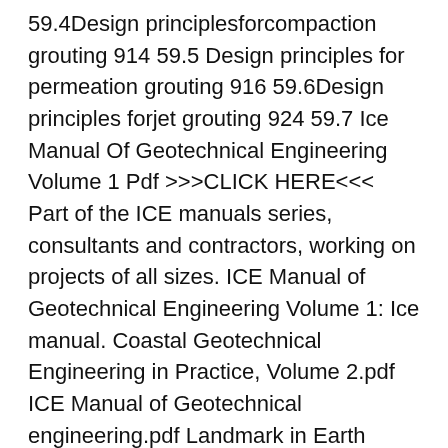59.4Design principlesforcompaction grouting 914 59.5 Design principles for permeation grouting 916 59.6Design principles forjet grouting 924 59.7 Ice Manual Of Geotechnical Engineering Volume 1 Pdf >>>CLICK HERE<<< Part of the ICE manuals series, consultants and contractors, working on projects of all sizes. ICE Manual of Geotechnical Engineering Volume 1: Ice manual. Coastal Geotechnical Engineering in Practice, Volume 2.pdf ICE Manual of Geotechnical engineering.pdf Landmark in Earth
ICE Manual of Geotechnical Engineering: 2 volume set Edited by J. Burland et al 978 07277 3652 9 2012 ICE Manual of Structural Design: